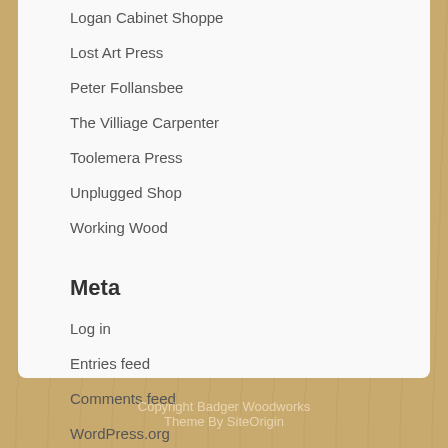Logan Cabinet Shoppe
Lost Art Press
Peter Follansbee
The Villiage Carpenter
Toolemera Press
Unplugged Shop
Working Wood
Meta
Log in
Entries feed
Comments feed
WordPress.org
Copyright Badger Woodworks Theme By SiteOrigin